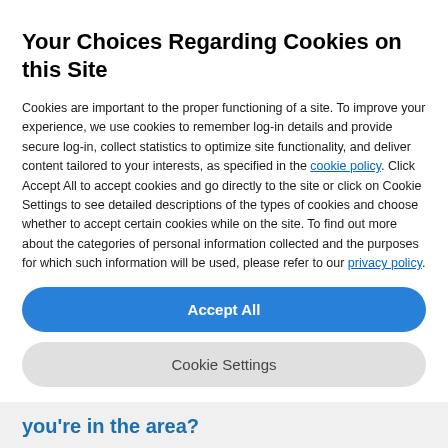Your Choices Regarding Cookies on this Site
Cookies are important to the proper functioning of a site. To improve your experience, we use cookies to remember log-in details and provide secure log-in, collect statistics to optimize site functionality, and deliver content tailored to your interests, as specified in the cookie policy. Click Accept All to accept cookies and go directly to the site or click on Cookie Settings to see detailed descriptions of the types of cookies and choose whether to accept certain cookies while on the site. To find out more about the categories of personal information collected and the purposes for which such information will be used, please refer to our privacy policy.
Accept All
Cookie Settings
you're in the area?